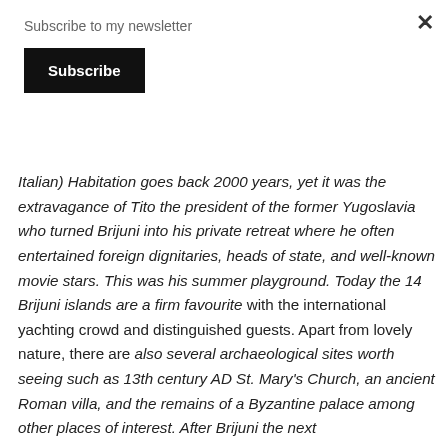Subscribe to my newsletter
Subscribe
Italian) Habitation goes back 2000 years, yet it was the extravagance of Tito the president of the former Yugoslavia who turned Brijuni into his private retreat where he often entertained foreign dignitaries, heads of state, and well-known movie stars. This was his summer playground. Today the 14 Brijuni islands are a firm favourite with the international yachting crowd and distinguished guests. Apart from lovely nature, there are also several archaeological sites worth seeing such as 13th century AD St. Mary's Church, an ancient Roman villa, and the remains of a Byzantine palace among other places of interest. After Brijuni the next